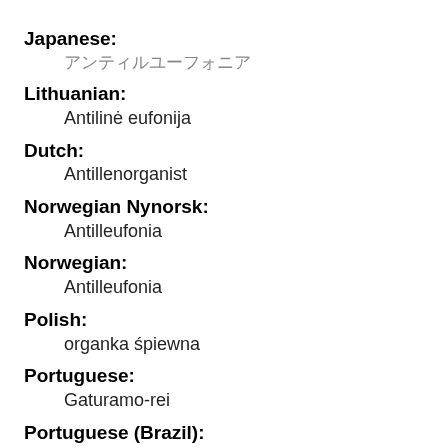Japanese: アンティルユーフォニア
Lithuanian: Antilinė eufonija
Dutch: Antillenorganist
Norwegian Nynorsk: Antilleufonia
Norwegian: Antilleufonia
Polish: organka śpiewna
Portuguese: Gaturamo-rei
Portuguese (Brazil): Gaturamo-rei
Russian: Антильская эуфония
Slovak: